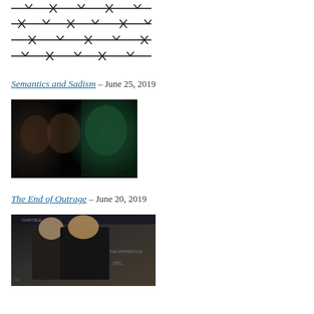[Figure (illustration): Barbed wire illustration showing four horizontal strands with barbs]
Semantics and Sadism – June 25, 2019
[Figure (photo): Dark dramatic photo showing faces including a green Hulk-like figure]
The End of Outrage – June 20, 2019
[Figure (photo): Photo of two men in suits posing together at what appears to be an NBC/Apprentice event, Chrysler branding visible]